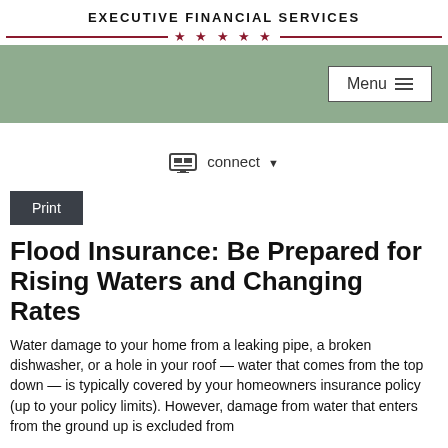Executive Financial Services
[Figure (other): Green navigation bar with Menu button and hamburger icon]
connect ▼
Print
Flood Insurance: Be Prepared for Rising Waters and Changing Rates
Water damage to your home from a leaking pipe, a broken dishwasher, or a hole in your roof — water that comes from the top down — is typically covered by your homeowners insurance policy (up to your policy limits). However, damage from water that enters from the ground up is excluded from